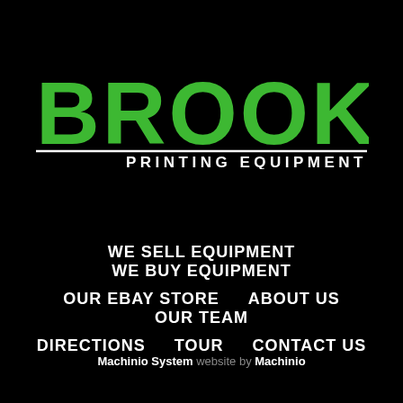[Figure (logo): Brooks Printing Equipment logo with large green bold 'BROOKS' text, a white horizontal line beneath, and 'PRINTING EQUIPMENT' in white text to the right of the line.]
WE SELL EQUIPMENT   WE BUY EQUIPMENT
OUR EBAY STORE   ABOUT US   OUR TEAM
DIRECTIONS   TOUR   CONTACT US
Machinio System website by Machinio